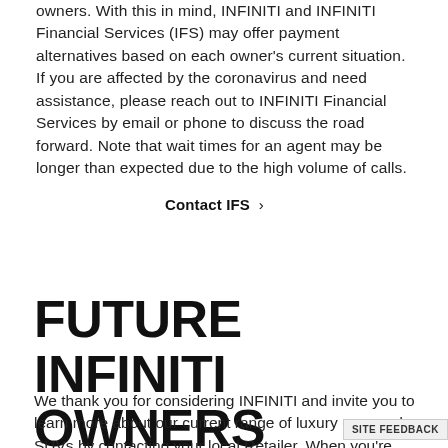owners. With this in mind, INFINITI and INFINITI Financial Services (IFS) may offer payment alternatives based on each owner's current situation. If you are affected by the coronavirus and need assistance, please reach out to INFINITI Financial Services by email or phone to discuss the road forward. Note that wait times for an agent may be longer than expected due to the high volume of calls.
Contact IFS >
FUTURE INFINITI OWNERS
We thank you for considering INFINITI and invite you to learn more about our current range of luxury cars and SUVs by contacting your local Retailer. When you're